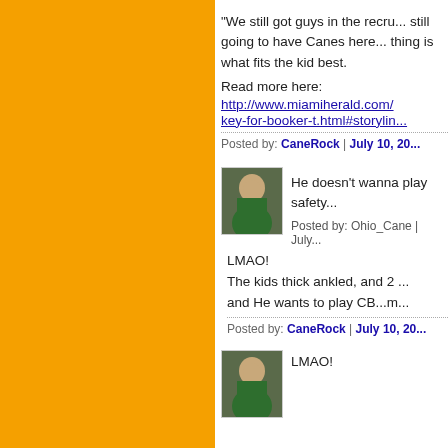[Figure (illustration): Orange sidebar background]
“We still got guys in the recru... still going to have Canes here... thing is what fits the kid best.
Read more here:
http://www.miamiherald.com/... key-for-booker-t.html#storylin...
Posted by: CaneRock | July 10, 20...
[Figure (photo): Avatar photo of a person in green jersey]
He doesn’t wanna play safety...
Posted by: Ohio_Cane | July...
LMAO!
The kids thick ankled, and 2 ... and He wants to play CB...m...
Posted by: CaneRock | July 10, 20...
[Figure (photo): Avatar photo of a person in green jersey]
LMAO!